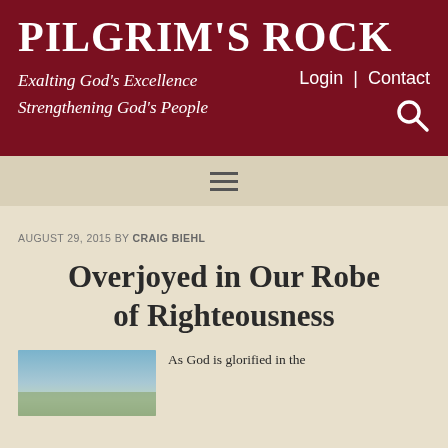Pilgrim's Rock
Exalting God's Excellence
Strengthening God's People
Login | Contact
AUGUST 29, 2015 BY CRAIG BIEHL
Overjoyed in Our Robe of Righteousness
[Figure (photo): Thumbnail image associated with article, showing sky and landscape]
As God is glorified in the